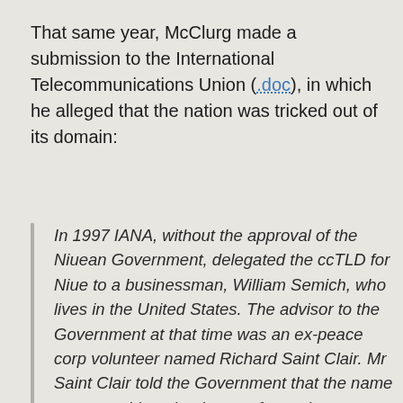That same year, McClurg made a submission to the International Telecommunications Union (.doc), in which he alleged that the nation was tricked out of its domain:
In 1997 IANA, without the approval of the Niuean Government, delegated the ccTLD for Niue to a businessman, William Semich, who lives in the United States. The advisor to the Government at that time was an ex-peace corp volunteer named Richard Saint Clair. Mr Saint Clair told the Government that the name meant nothing, that it was of no value or significance, and there was nothing that could be done. Shortly thereafter, Mr. Saint Clair then left his post as advisor and joined with Mr Semich in his organization – IUSN. The Government of Niue [continues below]